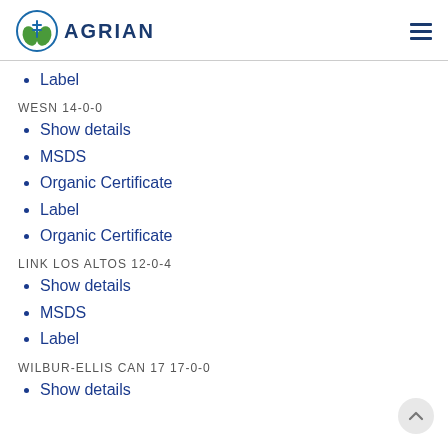AGRIAN
Label
WESN 14-0-0
Show details
MSDS
Organic Certificate
Label
Organic Certificate
LINK LOS ALTOS 12-0-4
Show details
MSDS
Label
WILBUR-ELLIS CAN 17 17-0-0
Show details